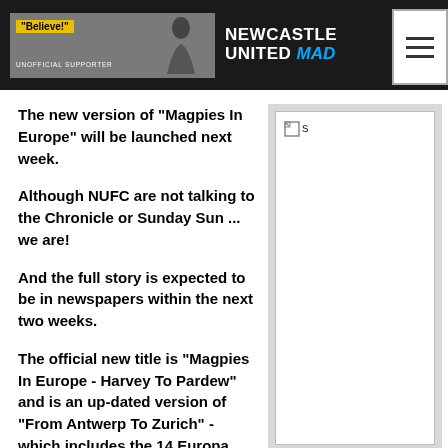Newcastle United Mad
The new version of "Magpies In Europe" will be launched next week.
Although NUFC are not talking to the Chronicle or Sunday Sun ... we are!
And the full story is expected to be in newspapers within the next two weeks.
The official new title is "Magpies In Europe - Harvey To Pardew" and is an up-dated version of "From Antwerp To Zurich" - which includes the 14 Europa League fixtures we played last season.
[Figure (photo): Broken/missing image placeholder with 's' label]